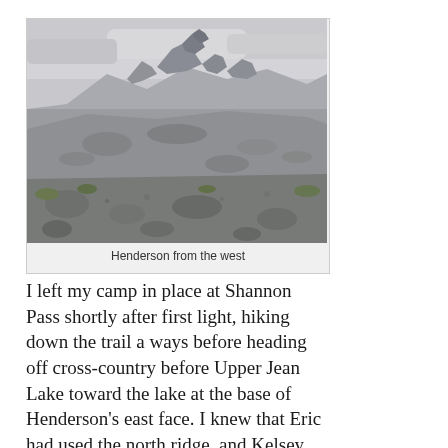[Figure (photo): Mountain landscape photo showing rocky terrain and peaks labeled 'Henderson from the west'. Rocky hillside in foreground, jagged mountain peaks in background under overcast sky.]
Henderson from the west
I left my camp in place at Shannon Pass shortly after first light, hiking down the trail a ways before heading off cross-country before Upper Jean Lake toward the lake at the base of Henderson's east face. I knew that Eric had used the north ridge, and Kelsey said the face was class